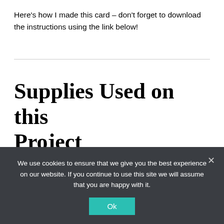Here's how I made this card – don't forget to download the instructions using the link below!
Supplies Used on this Project
[Figure (photo): Two product cards showing craft stamps: one with a tree and leaf/bird stamp design, one with handwritten sentiment text stamps.]
We use cookies to ensure that we give you the best experience on our website. If you continue to use this site we will assume that you are happy with it.